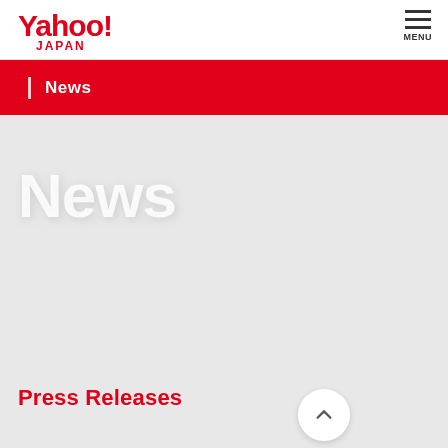Yahoo! Japan
News
News
Press Releases